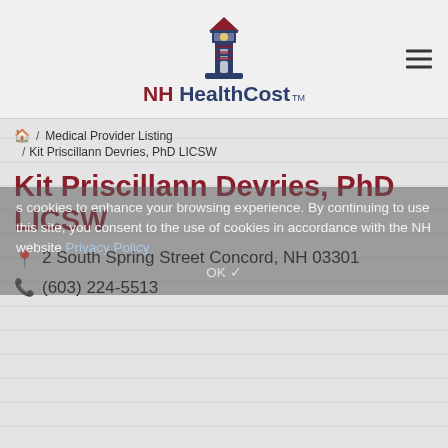[Figure (logo): NH HealthCost logo with lighthouse graphic and bold text]
NH HealthCost
/ Medical Provider Listing
/ Kit Priscillann Devries, PhD LICSW
Kit Priscillann Devries, PhD LICSW
2 South Spring Street Concord, NH 03301
(603) 224-5513
All cost information is based on claims data collected in the New Hampshire Comprehensive Healthcare Information System which is